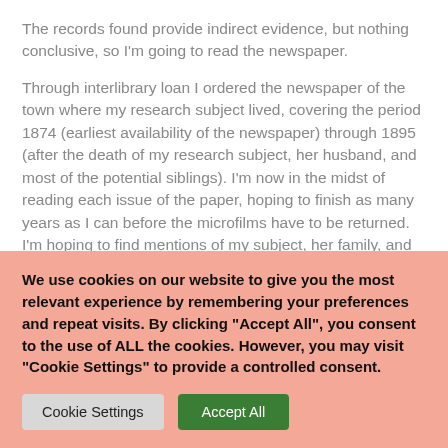The records found provide indirect evidence, but nothing conclusive, so I'm going to read the newspaper.
Through interlibrary loan I ordered the newspaper of the town where my research subject lived, covering the period 1874 (earliest availability of the newspaper) through 1895 (after the death of my research subject, her husband, and most of the potential siblings). I'm now in the midst of reading each issue of the paper, hoping to finish as many years as I can before the microfilms have to be returned. I'm hoping to find mentions of my subject, her family, and the possible siblings and their families
We use cookies on our website to give you the most relevant experience by remembering your preferences and repeat visits. By clicking "Accept All", you consent to the use of ALL the cookies. However, you may visit "Cookie Settings" to provide a controlled consent.